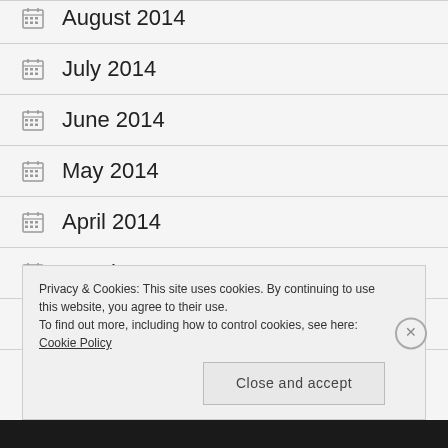August 2014
July 2014
June 2014
May 2014
April 2014
March 2014
February 2014
Privacy & Cookies: This site uses cookies. By continuing to use this website, you agree to their use. To find out more, including how to control cookies, see here: Cookie Policy
Close and accept